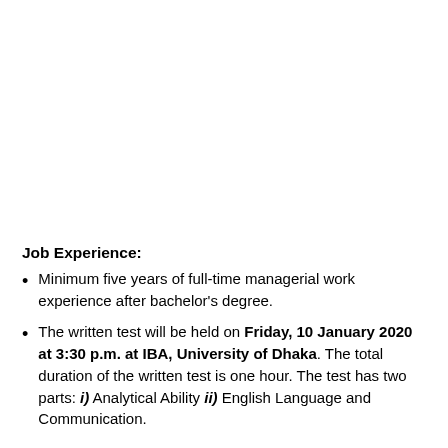Job Experience:
Minimum five years of full-time managerial work experience after bachelor’s degree.
The written test will be held on Friday, 10 January 2020 at 3:30 p.m. at IBA, University of Dhaka. The total duration of the written test is one hour. The test has two parts: i) Analytical Ability ii) English Language and Communication.